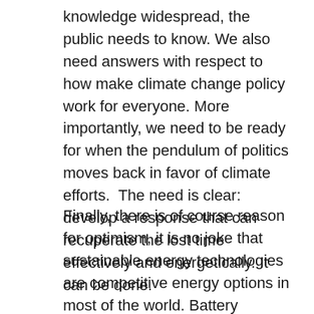knowledge widespread, the public needs to know. We also need answers with respect to how make climate change policy work for everyone. More importantly, we need to be ready for when the pendulum of politics moves back in favor of climate efforts.  The need is clear: develop a response that can recuperate the lost time effectively and energetically. It can be done.
Finally, there is of course reason for optimism, it is no joke that sustainable energy technologies are competitive energy options in most of the world. Battery technologies are improving very fast and many countries are implementing policies to lead the way forward in these industries. We are